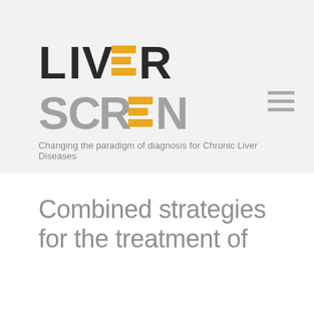[Figure (logo): LiverScreen project logo with 'LIVER SCREEN' text in bold dark letters with yellow/orange horizontal bar elements replacing letters E in LIVER and E in SCREEN, accompanied by a hamburger menu icon]
Changing the paradigm of diagnosis for Chronic Liver Diseases
Combined strategies for the treatment of NAFLD